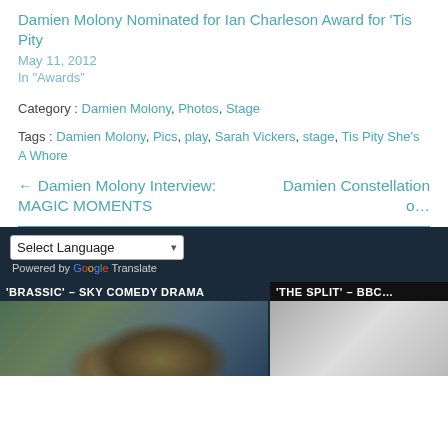Damien Molony Nominated for Ian Charleson Award for 'Tis Pity
May 11, 2012
In "Awards"
Category : Damien Molony, Photos, Stage
Tags : Damien Molony, Pics, play, Sarah Vickers, stage, Tis Pity She's A Whore
← Damien Molony Interview: MAGIC MOMENTS
Damien Constellation (truncated)
'BRASSIC' – SKY COMEDY DRAMA
'THE SPLIT' – BBC (truncated)